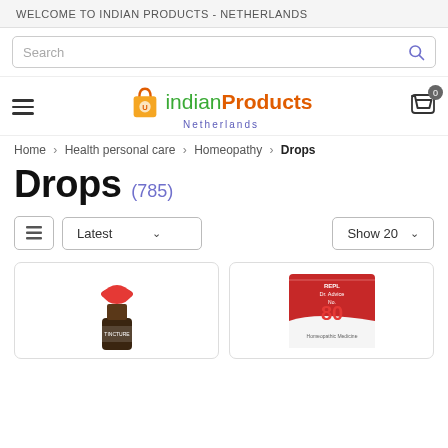WELCOME TO INDIAN PRODUCTS - NETHERLANDS
[Figure (screenshot): Search bar with search icon]
[Figure (logo): Indian Products Netherlands logo with shopping bag icon, hamburger menu, and cart with 0 badge]
Home > Health personal care > Homeopathy > Drops
Drops (785)
[Figure (screenshot): Filter bar with list view button, Latest dropdown, and Show 20 dropdown]
[Figure (photo): Product card showing a homeopathic tincture bottle with red cap]
[Figure (photo): Product card showing REPL Dr. Advice No. 80 homeopathic medicine box]